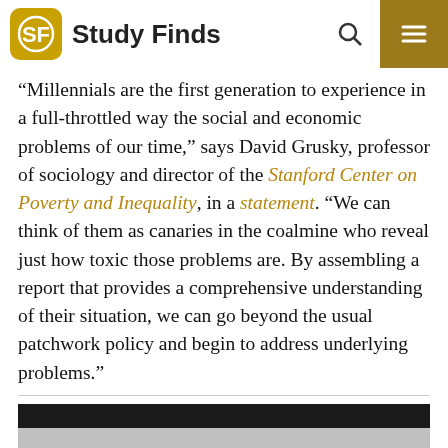Study Finds
“Millennials are the first generation to experience in a full-throttled way the social and economic problems of our time,” says David Grusky, professor of sociology and director of the Stanford Center on Poverty and Inequality, in a statement. “We can think of them as canaries in the coalmine who reveal just how toxic those problems are. By assembling a report that provides a comprehensive understanding of their situation, we can go beyond the usual patchwork policy and begin to address underlying problems.”
[Figure (screenshot): Video thumbnail with dark header bar and light gray content area below, with a play arrow icon visible]